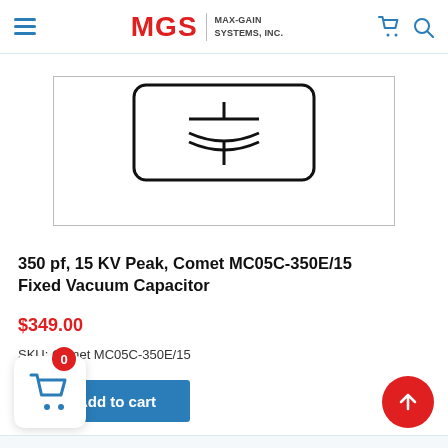MGS MAX-GAIN SYSTEMS, INC.
[Figure (illustration): Product image of Comet MC05C-350E/15 Fixed Vacuum Capacitor showing a capacitor schematic symbol (two plates with curved lines) inside a rounded rectangle border]
350 pf, 15 KV Peak, Comet MC05C-350E/15 Fixed Vacuum Capacitor
$349.00
SKU: Comet MC05C-350E/15